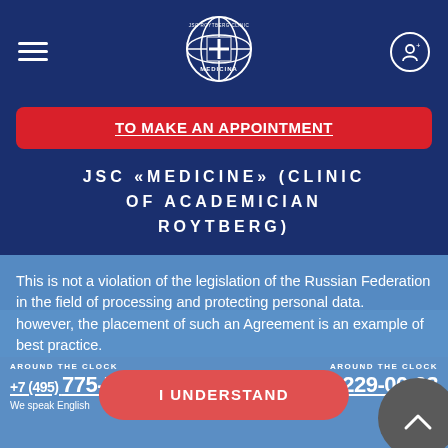[Figure (logo): JSC Roytberg Clinic MEDICINA globe logo with cross, white on dark blue]
TO MAKE AN APPOINTMENT
JSC «MEDICINE» (CLINIC OF ACADEMICIAN ROYTBERG)
This is not a violation of the legislation of the Russian Federation in the field of processing and protecting personal data. however, the placement of such an Agreement is an example of best practice.
AROUND THE CLOCK +7 (495) 775-75-00 We speak English
AROUND THE CLOCK +1 (495) 229-00-03 Ambulance
I UNDERSTAND